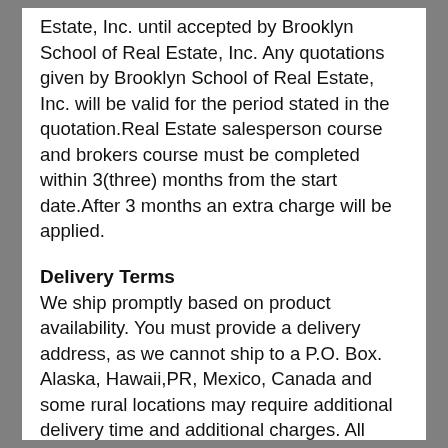Estate, Inc. until accepted by Brooklyn School of Real Estate, Inc. Any quotations given by Brooklyn School of Real Estate, Inc. will be valid for the period stated in the quotation.Real Estate salesperson course and brokers course must be completed within 3(three) months from the start date.After 3 months an extra charge will be applied.
Delivery Terms
We ship promptly based on product availability. You must provide a delivery address, as we cannot ship to a P.O. Box. Alaska, Hawaii,PR, Mexico, Canada and some rural locations may require additional delivery time and additional charges. All orders outside the U.S. are subject to duty; it is the